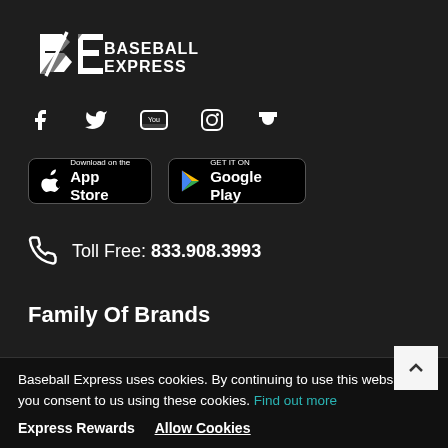[Figure (logo): Baseball Express logo — BE monogram with 'BASEBALL EXPRESS' text in white on dark background]
[Figure (infographic): Social media icons: Facebook, Twitter, YouTube, Instagram, Trophy/Rewards]
[Figure (infographic): App store download buttons: 'Download on the App Store' and 'GET IT ON Google Play']
Toll Free: 833.908.3993
Family Of Brands
Baseball Express uses cookies. By continuing to use this website, you consent to us using these cookies. Find out more
Express Rewards
Allow Cookies